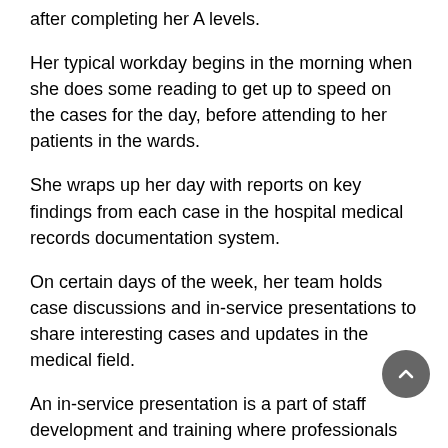after completing her A levels.
Her typical workday begins in the morning when she does some reading to get up to speed on the cases for the day, before attending to her patients in the wards.
She wraps up her day with reports on key findings from each case in the hospital medical records documentation system.
On certain days of the week, her team holds case discussions and in-service presentations to share interesting cases and updates in the medical field.
An in-service presentation is a part of staff development and training where professionals discuss and share information within a team.
This training structure is similar to that of other medical professions such as medicine and pharmacy.